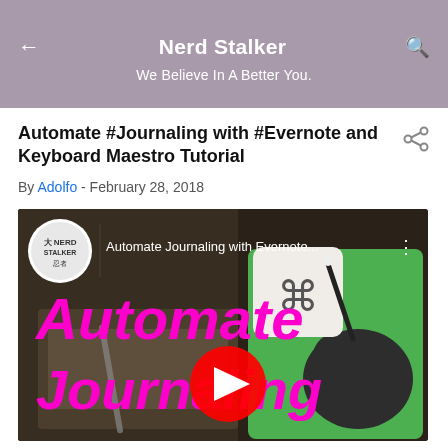Nerd Stalker
We Believe In A Better You.
Automate #Journaling with #Evernote and Keyboard Maestro Tutorial
By Adolfo - February 28, 2018
[Figure (screenshot): YouTube video thumbnail for 'Automate Journaling with Evernote...' showing text 'Automate Journaling' in magenta/pink bold font over a dark background with a journal/notebook, a YouTube play button in the center, and Evernote + Keyboard Maestro app icons on the right side. The video channel icon (Nerd Stalker) appears in the top-left of the thumbnail.]